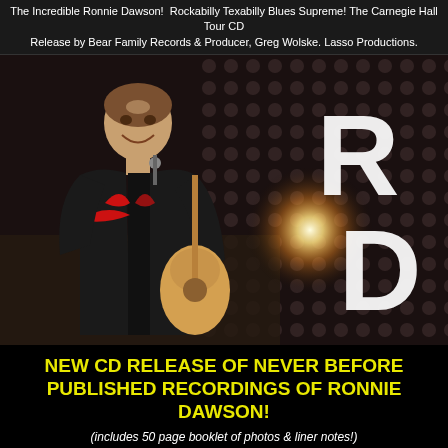The Incredible Ronnie Dawson!  Rockabilly Texabilly Blues Supreme! The Carnegie Hall Tour CD Release by Bear Family Records & Producer, Greg Wolske. Lasso Productions.
[Figure (photo): Ronnie Dawson playing guitar on stage, wearing a black western shirt with red accents, smiling, with a bright stage light and dotted background. Large white letters 'R' and 'D' visible on the right side of the image.]
NEW CD RELEASE OF NEVER BEFORE PUBLISHED RECORDINGS OF RONNIE DAWSON!
(includes 50 page booklet of photos & liner notes!)